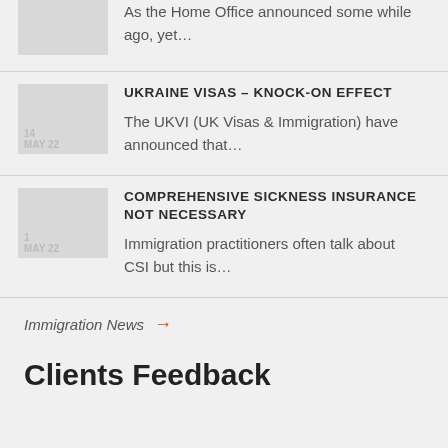As the Home Office announced some while ago, yet…
UKRAINE VISAS – KNOCK-ON EFFECT
The UKVI (UK Visas & Immigration) have announced that…
COMPREHENSIVE SICKNESS INSURANCE NOT NECESSARY
Immigration practitioners often talk about CSI but this is…
Immigration News →
Clients Feedback